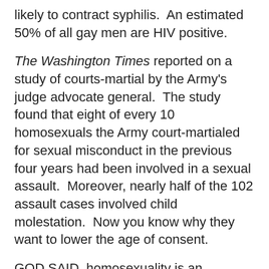likely to contract syphilis.  An estimated 50% of all gay men are HIV positive.
The Washington Times reported on a study of courts-martial by the Army's judge advocate general.  The study found that eight of every 10 homosexuals the Army court-martialed for sexual misconduct in the previous four years had been involved in a sexual assault.  Moreover, nearly half of the 102 assault cases involved child molestation.  Now you know why they want to lower the age of consent.
GOD SAID, homosexuality is an abomination (His actual word.) and will have its end in the Lake of Fire.